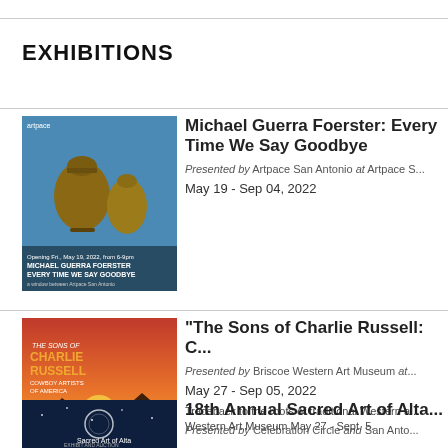EXHIBITIONS
[Figure (photo): Exhibition poster for Michael Guerra Foerster: Every Time We Say Goodbye. Blue background with ceramic vessels, presented by Artpace San Antonio.]
Michael Guerra Foerster: Every Time We Say Goodbye
Presented by Artpace San Antonio at Artpace San Antonio
May 19 - Sep 04, 2022
[Figure (photo): Exhibition poster for The Sons of Charlie Russell: Cowboy Artists of America. Red/orange background with desert sunset and cactus silhouette, presented by Briscoe Western Art Museum.]
"The Sons of Charlie Russell: Cowboy Artists of America"
Presented by Briscoe Western Art Museum at Briscoe Western Art Museum
May 27 - Sep 05, 2022
Traceback to the roots of traditional Western art at the Briscoe Western Art Museum May 27 - Sept. 5.
[Figure (photo): Exhibition poster for 18th Annual Sacred Art of Alta showing night sky and circular emblem, presented by Celebration Circle and San Antonio.]
18th Annual Sacred Art of Alta
Presented by Celebration Circle and San Antonio